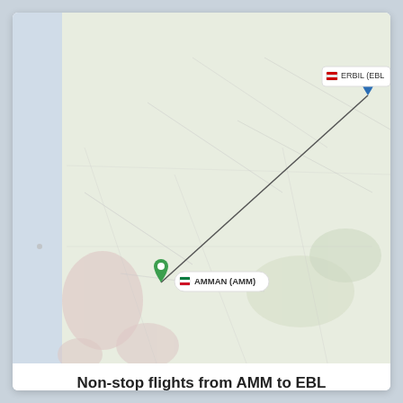[Figure (map): Map showing a flight route line from Amman (AMM) in Jordan (bottom-left, green pin) to Erbil (EBL) in Iraq (top-right, blue pin), with labeled callouts at each airport location.]
Non-stop flights from AMM to EBL
555 miles (893 km) · 3 hours and 00 minute
CHECK PRICES